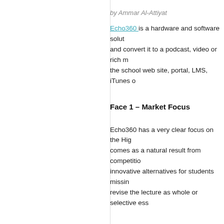by Ammar Al-Attiyat
Echo360 is a hardware and software solution that captures a class lecture and convert it to a podcast, video or rich media presentation and publish it to the school web site, portal, LMS, iTunes or Echo360 itself.
Face 1 – Market Focus
Echo360 has a very clear focus on the Higher Education market which comes as a natural result from competition to provide students with innovative alternatives for students missing classes or for them to revise the lecture as whole or selective ess
Face 2 – Types of Offering
A clear infrastructure solution that is based on the capturing appliance – which can be integrated with equipments (podiums, smart board, docum and the instructor laptop to capture the wh software application servers then handle th different publishing options) and then the